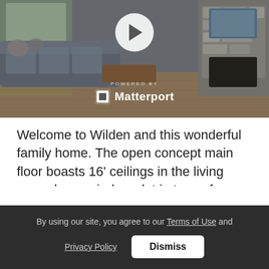[Figure (photo): Interior photo of a living room with grey sectional sofa, wood coffee table, large windows, stone fireplace, and hardwood floors. Overlaid with a circular play button and Matterport branding (POWERED BY Matterport).]
Welcome to Wilden and this wonderful family home. The open concept main floor boasts 16' ceilings in the living room, huge windows let in tons of natural light, and has a floor to ceiling stone fireplace. Along with a main floor office, there is a large mudroom complete with dog wash ! 4 bedrooms and 4 full baths, as well as a huge rec room down. Fully fenced, flat backyard is perfect for kids and pets alike. Steps away from endless hiking and
By using our site, you agree to our Terms of Use and Privacy Policy
Dismiss